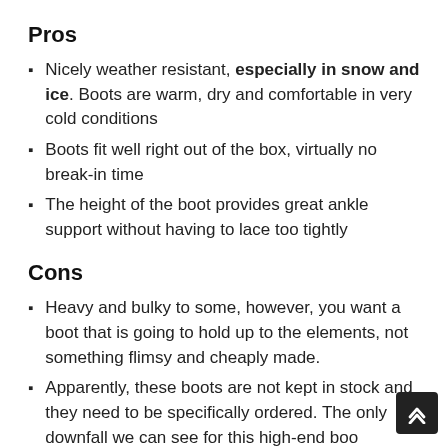Pros
Nicely weather resistant, especially in snow and ice. Boots are warm, dry and comfortable in very cold conditions
Boots fit well right out of the box, virtually no break-in time
The height of the boot provides great ankle support without having to lace too tightly
Cons
Heavy and bulky to some, however, you want a boot that is going to hold up to the elements, not something flimsy and cheaply made.
Apparently, these boots are not kept in stock and they need to be specifically ordered. The only downfall we can see for this high-end boo...